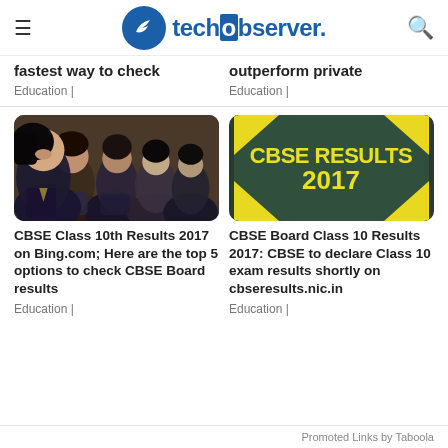techobserver.
fastest way to check
Education |
outperform private
Education |
[Figure (photo): Group of school students in uniform, close-up shot]
CBSE Class 10th Results 2017 on Bing.com; Here are the top 5 options to check CBSE Board results
Education |
[Figure (photo): Dark chalkboard background with yellow text reading CBSE RESULTS 2017 and yellow corner decorations]
CBSE Board Class 10 Results 2017: CBSE to declare Class 10 exam results shortly on cbseresults.nic.in
Education |
Promoted Links by Taboola